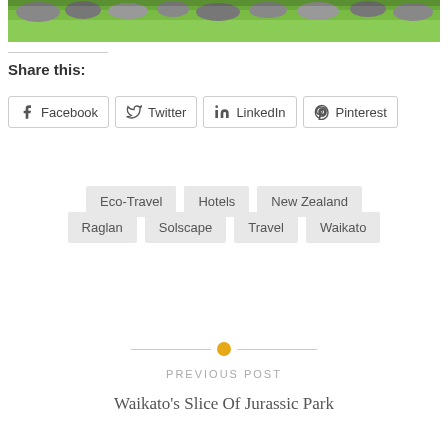[Figure (photo): Partial view of a green grassy landscape with rocks and stone wall at the top]
Share this:
Facebook  Twitter  LinkedIn  Pinterest
Eco-Travel
Hotels
New Zealand
Raglan
Solscape
Travel
Waikato
PREVIOUS POST
Waikato's Slice Of Jurassic Park